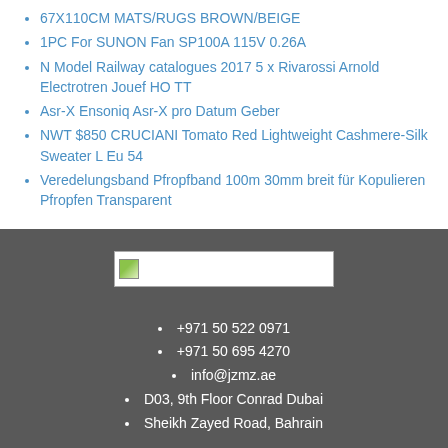67X110CM MATS/RUGS BROWN/BEIGE
1PC For SUNON Fan SP100A 115V 0.26A
N Model Railway catalogues 2017 5 x Rivarossi Arnold Electrotren Jouef HO TT
Asr-X Ensoniq Asr-X pro Datum Geber
NWT $850 CRUCIANI Tomato Red Lightweight Cashmere-Silk Sweater L Eu 54
Veredelungsband Pfropfband 100m 30mm breit für Kopulieren Pfropfen Transparent
[Figure (logo): Logo image placeholder with small thumbnail icon]
+971 50 522 0971
+971 50 695 4270
info@jzmz.ae
D03, 9th Floor Conrad Dubai
Sheikh Zayed Road, Bahrain